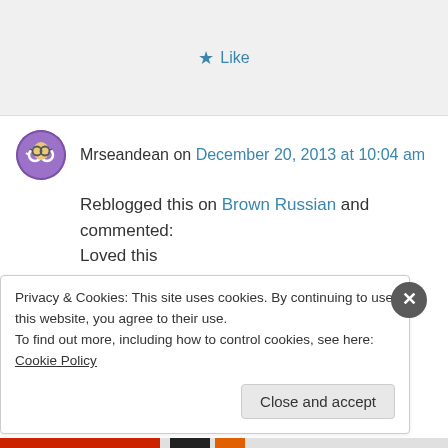★ Like
Mrseandean on December 20, 2013 at 10:04 am
Reblogged this on Brown Russian and commented:
Loved this
★ Like
↪ Reply
Privacy & Cookies: This site uses cookies. By continuing to use this website, you agree to their use.
To find out more, including how to control cookies, see here: Cookie Policy
Close and accept